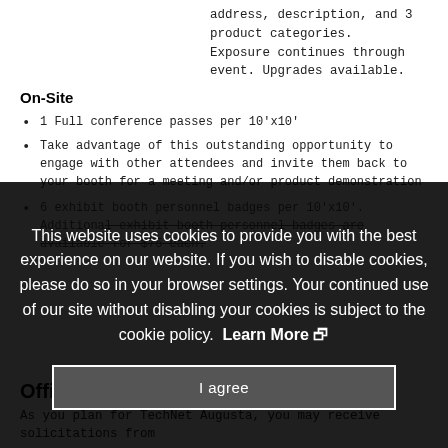address, description, and 3 product categories. Exposure continues through event. Upgrades available.
On-Site
1 Full conference passes per 10'x10'
Take advantage of this outstanding opportunity to engage with other attendees and invite them back to your booth for a meeting and/or product demonstration
6 exhibit booth personnel badges per 10'x10'. Additional exhibit booth personnel badges are available for $75 each.
...company...
...company name and booth number...
Copy of the post-conference summary
This website uses cookies to provide you with the best experience on our website. If you wish to disable cookies, please do so in your browser settings. Your continued use of our site without disabling your cookies is subject to the cookie policy. Learn More
Official Contractors
As you plan for TechNet Augusta, you may receive solicitations from